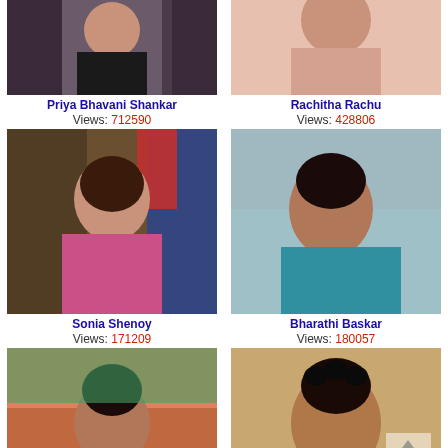[Figure (photo): Photo of Priya Bhavani Shankar, woman in black top]
Priya Bhavani Shankar
Views: 712590
[Figure (photo): Photo of Rachitha Rachu, woman in peach top]
Rachitha Rachu
Views: 428806
[Figure (photo): Photo of Sonia Shenoy, woman TV anchor in pink saree]
Sonia Shenoy
Views: 171209
[Figure (photo): Photo of Bharathi Baskar, woman in teal saree]
Bharathi Baskar
Views: 180057
[Figure (photo): Photo of a young woman smiling, black hair, orange top]
[Figure (photo): Photo of a young man with curly hair]